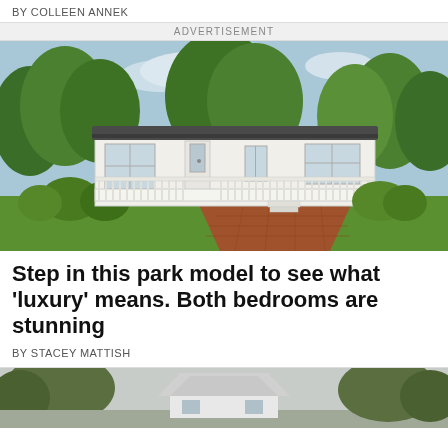BY COLLEEN ANNEK
ADVERTISEMENT
[Figure (photo): Exterior of a white park model home with a wraparound white deck, large windows, dark roof, surrounded by green trees and shrubs, with a brick-paved driveway in front.]
Step in this park model to see what 'luxury' means. Both bedrooms are stunning
BY STACEY MATTISH
[Figure (photo): Partial view of a gray house with a pitched roof, surrounded by trees, cropped at bottom of page.]